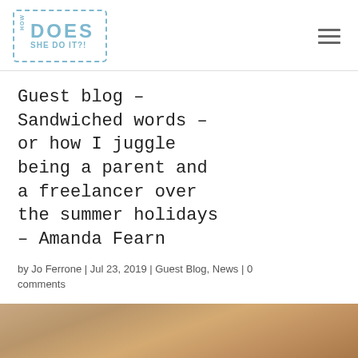HOW DOES SHE DO IT?!
Guest blog – Sandwiched words – or how I juggle being a parent and a freelancer over the summer holidays – Amanda Fearn
by Jo Ferrone | Jul 23, 2019 | Guest Blog, News | 0 comments
[Figure (photo): Partial photo of a person, cropped at bottom of page]